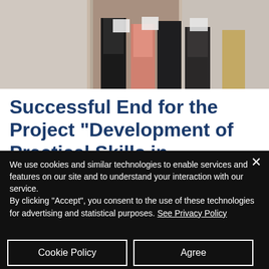[Figure (photo): Group photo of people holding certificates, standing indoors against a brick wall background. Only lower bodies/legs visible at top crop.]
Successful End for the Project “Development of Practical Skills in Accordance to Labor
We use cookies and similar technologies to enable services and features on our site and to understand your interaction with our service.
By clicking "Accept", you consent to the use of these technologies for advertising and statistical purposes. See Privacy Policy
Cookie Policy
Agree